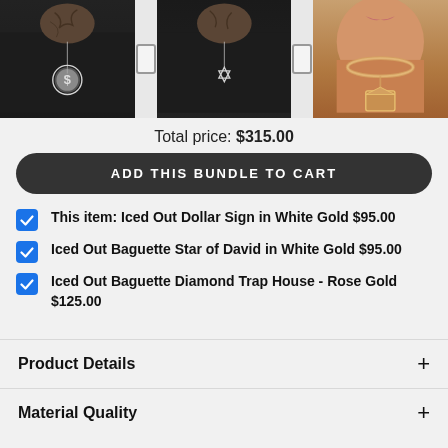[Figure (photo): Three product photos of jewelry/pendants worn as necklaces: (1) Iced Out Dollar Sign pendant in white gold on tattooed male neck, (2) Iced Out Baguette Star of David pendant in white gold on tattooed male neck, (3) Iced Out Baguette Diamond Trap House pendant in rose gold on female neck with tennis chain.]
Total price: $315.00
ADD THIS BUNDLE TO CART
This item: Iced Out Dollar Sign in White Gold  $95.00
Iced Out Baguette Star of David in White Gold  $95.00
Iced Out Baguette Diamond Trap House - Rose Gold  $125.00
Product Details
Material Quality